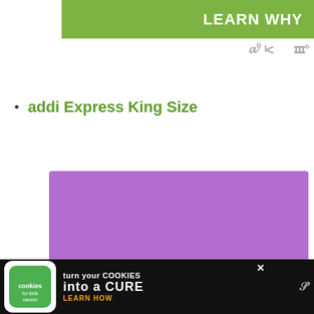[Figure (screenshot): Green 'LEARN WHY' banner at top right of page]
[Figure (logo): Gray stylized W° wordmark top right]
addi Express King Size
[Figure (screenshot): Purple cookie consent overlay with text: 'This site uses cookies to give you the best possible experience. By using the website, you accept this. Learn more.' with Accept and X buttons]
[Figure (screenshot): Three pagination dots (gray circles)]
[Figure (screenshot): Black advertisement bar at bottom: 'cookies for kids cancer — turn your COOKIES into a CURE LEARN HOW' with close X button and W° wordmark]